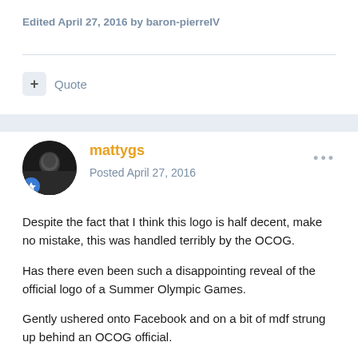Edited April 27, 2016 by baron-pierreIV
mattygs
Posted April 27, 2016
Despite the fact that I think this logo is half decent, make no mistake, this was handled terribly by the OCOG.
Has there even been such a disappointing reveal of the official logo of a Summer Olympic Games.
Gently ushered onto Facebook and on a bit of mdf strung up behind an OCOG official.
I really don't think they should have ever put all 4 designs to the public, but in any case, they should have determined the winner and then hung fire for a month or so.